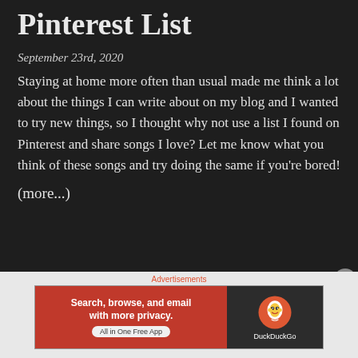Pinterest List
September 23rd, 2020
Staying at home more often than usual made me think a lot about the things I can write about on my blog and I wanted to try new things, so I thought why not use a list I found on Pinterest and share songs I love? Let me know what you think of these songs and try doing the same if you’re bored!
(more...)
Advertisements
[Figure (screenshot): DuckDuckGo advertisement banner: orange left panel with text 'Search, browse, and email with more privacy. All in One Free App', dark right panel with DuckDuckGo duck logo and 'DuckDuckGo' text.]